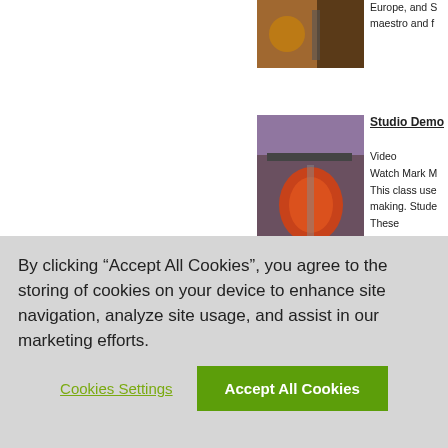[Figure (photo): Glassblowing photo partially visible at top of page]
Europe, and S maestro and f
[Figure (photo): Hands holding a glowing orange glass globe on a metal rod]
Studio Demo
Video
Watch Mark M
This class use
making. Stude
These
[Figure (photo): Person wearing sunglasses working in glass studio]
Studio Demo
Video
Watch Suelle
By clicking “Accept All Cookies”, you agree to the storing of cookies on your device to enhance site navigation, analyze site usage, and assist in our marketing efforts.
Cookies Settings
Accept All Cookies